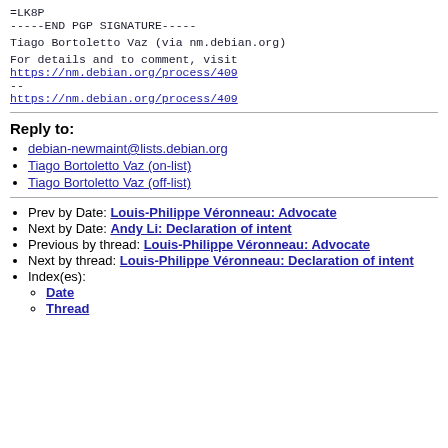=LK8P
-----END PGP SIGNATURE-----
Tiago Bortoletto Vaz (via nm.debian.org)
For details and to comment, visit
https://nm.debian.org/process/409
--
https://nm.debian.org/process/409
Reply to:
debian-newmaint@lists.debian.org
Tiago Bortoletto Vaz (on-list)
Tiago Bortoletto Vaz (off-list)
Prev by Date: Louis-Philippe Véronneau: Advocate
Next by Date: Andy Li: Declaration of intent
Previous by thread: Louis-Philippe Véronneau: Advocate
Next by thread: Louis-Philippe Véronneau: Declaration of intent
Index(es):
Date
Thread